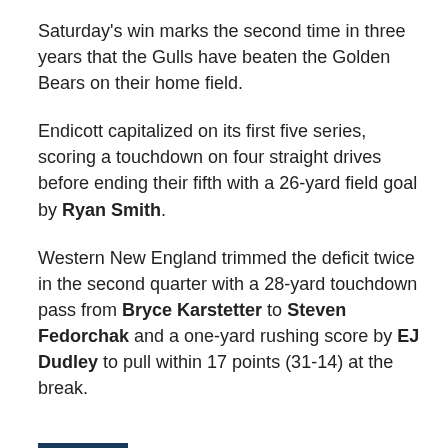Saturday's win marks the second time in three years that the Gulls have beaten the Golden Bears on their home field.
Endicott capitalized on its first five series, scoring a touchdown on four straight drives before ending their fifth with a 26-yard field goal by Ryan Smith.
Western New England trimmed the deficit twice in the second quarter with a 28-yard touchdown pass from Bryce Karstetter to Steven Fedorchak and a one-yard rushing score by EJ Dudley to pull within 17 points (31-14) at the break.